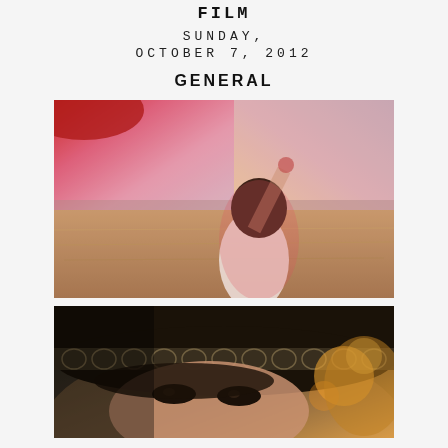FILM
SUNDAY,
OCTOBER 7, 2012
GENERAL
[Figure (photo): A young woman in a white sleeveless top standing in a golden field, arm raised holding something, with a pink and red sky behind her and distant mountains.]
[Figure (photo): Close-up of a woman's eyes wearing a decorative lace headband/crown with golden bokeh light in the background.]